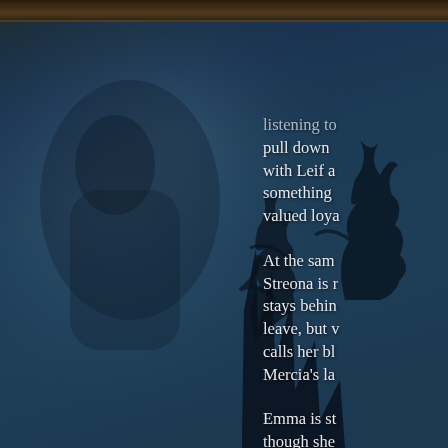[Figure (illustration): Dark atmospheric background with deep blue-teal tones, a decorative wooden frame border at top, a shadowy figure silhouette on the left, and a dark tree silhouette on the right side. Misty foggy atmosphere.]
listening to
pull down
with Leif a
something
valued loya

At the sam
Streona is r
stays behin
leave, but v
calls her bl
Mercia's la

Emma is st
though she
He's been o
neither Em